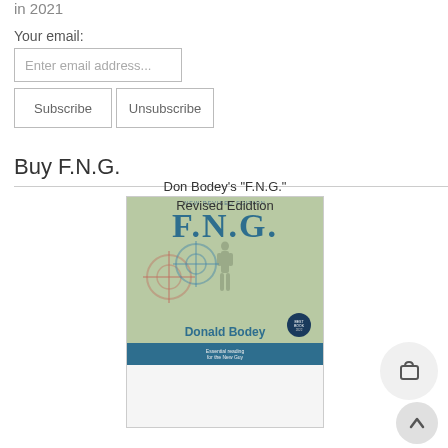in 2021
Your email:
Enter email address...
Subscribe
Unsubscribe
Buy F.N.G.
[Figure (photo): Book cover of F.N.G. New Revised Edition by Donald Bodey, showing a soldier silhouette with crosshair scopes overlaid on a tan/olive background, and a blue bar at the bottom with subtitle text.]
Don Bodey's "F.N.G." Revised Edidtion